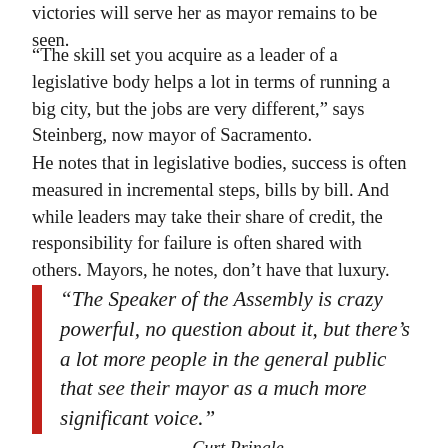victories will serve her as mayor remains to be seen.
“The skill set you acquire as a leader of a legislative body helps a lot in terms of running a big city, but the jobs are very different,” says Steinberg, now mayor of Sacramento.
He notes that in legislative bodies, success is often measured in incremental steps, bills by bill. And while leaders may take their share of credit, the responsibility for failure is often shared with others. Mayors, he notes, don’t have that luxury.
“The Speaker of the Assembly is crazy powerful, no question about it, but there’s a lot more people in the general public that see their mayor as a much more significant voice.”
Curt Pringle